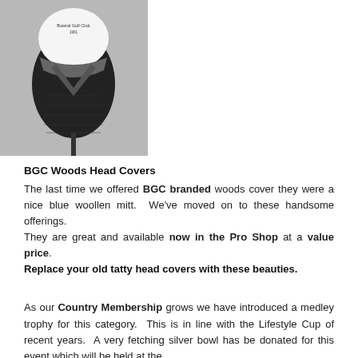[Figure (photo): A black and white golf club head cover with BGC Bowral Golf Club branding on the white top portion, displayed on a golf club shaft against a light grey background.]
BGC Woods Head Covers
The last time we offered BGC branded woods cover they were a nice blue woollen mitt.  We've moved on to these handsome offerings.
They are great and available now in the Pro Shop at a value price.
Replace your old tatty head covers with these beauties.
As our Country Membership grows we have introduced a medley trophy for this category.  This is in line with the Lifestyle Cup of recent years.  A very fetching silver bowl has be donated for this event which will be held at the